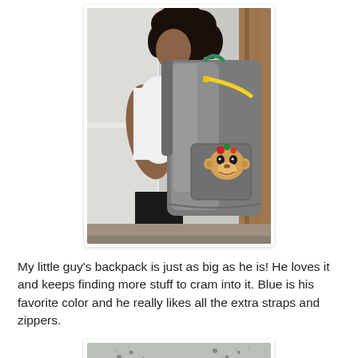[Figure (photo): A young girl wearing a large shiny silver/grey backpack with a yellow zipper and a cartoon monkey face logo (Paul Frank Julius), viewed from behind/side. She is wearing a white t-shirt. The backpack is very large relative to her body. Background shows a white door and wooden fence.]
My little guy's backpack is just as big as he is! He loves it and keeps finding more stuff to cram into it. Blue is his favorite color and he really likes all the extra straps and zippers.
[Figure (photo): Partial view of another photo, cropped at the bottom of the page. Shows what appears to be an outdoor scene, partially visible.]